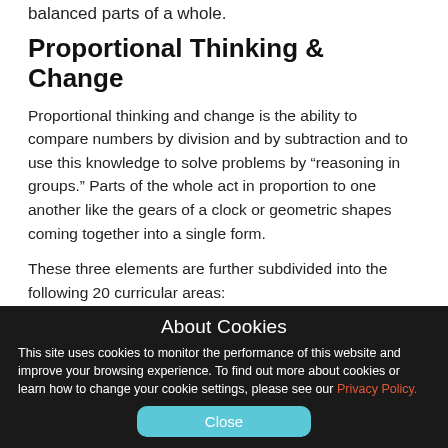balanced parts of a whole.
Proportional Thinking & Change
Proportional thinking and change is the ability to compare numbers by division and by subtraction and to use this knowledge to solve problems by “reasoning in groups.” Parts of the whole act in proportion to one another like the gears of a clock or geometric shapes coming together into a single form.
These three elements are further subdivided into the following 20 curricular areas:
Counting
Half
Percents
Geometry
About Cookies
This site uses cookies to monitor the performance of this website and improve your browsing experience. To find out more about cookies or learn how to change your cookie settings, please see our Privacy Policy.
Close